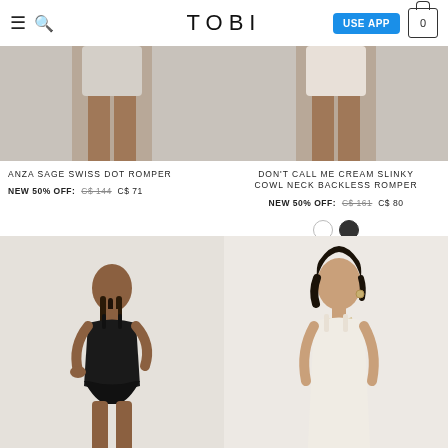TOBI — USE APP
[Figure (photo): Cropped photo of woman wearing Anza Sage Swiss Dot Romper, sage green, upper body/legs visible]
ANZA SAGE SWISS DOT ROMPER
NEW 50% OFF: C$ 144  C$ 71
[Figure (photo): Cropped photo of woman wearing Don't Call Me Cream Slinky Cowl Neck Backless Romper, upper body visible]
DON'T CALL ME CREAM SLINKY COWL NECK BACKLESS ROMPER
NEW 50% OFF: C$ 161  C$ 80
[Figure (photo): Full-length photo of woman in black romper/shorts standing against light background]
[Figure (photo): Photo of woman in cream/white dress standing against light background]